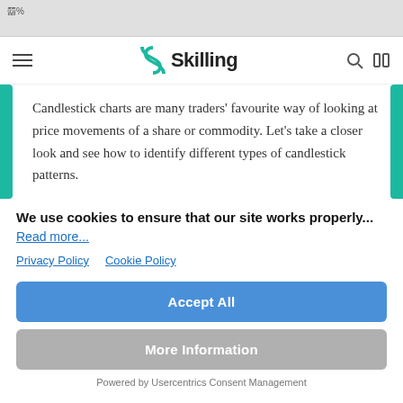80%
[Figure (logo): Skilling logo with teal S icon and wordmark]
Candlestick charts are many traders' favourite way of looking at price movements of a share or commodity. Let's take a closer look and see how to identify different types of candlestick patterns.
We use cookies to ensure that our site works properly... Read more...
Privacy Policy  Cookie Policy
Accept All
More Information
Powered by Usercentrics Consent Management